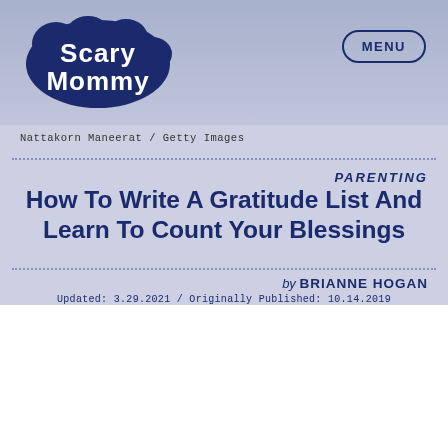[Figure (logo): Scary Mommy logo with bubble-style lettering in dark blue and white]
[Figure (other): MENU button in oval/pill border, dark blue text]
Nattakorn Maneerat / Getty Images
PARENTING
How To Write A Gratitude List And Learn To Count Your Blessings
by BRIANNE HOGAN
Updated: 3.29.2021 / Originally Published: 10.14.2019
I've been keeping a gratitude list ever since Oprah Winfrey introduced me